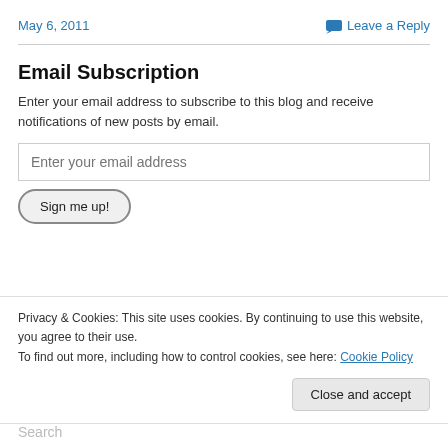May 6, 2011   Leave a Reply
Email Subscription
Enter your email address to subscribe to this blog and receive notifications of new posts by email.
Enter your email address
Sign me up!
Privacy & Cookies: This site uses cookies. By continuing to use this website, you agree to their use.
To find out more, including how to control cookies, see here: Cookie Policy
Close and accept
Search